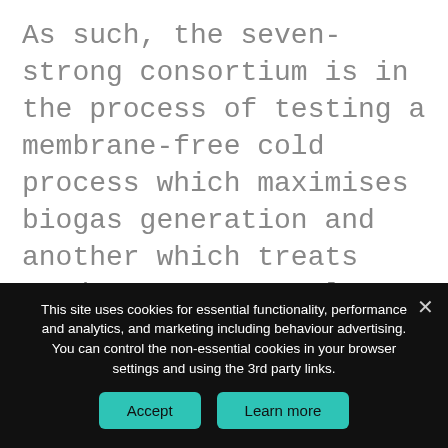As such, the seven-strong consortium is in the process of testing a membrane-free cold process which maximises biogas generation and another which treats crude sewage at a larger scale by combining existing technology with alternative nutrient removal apparatus at laboratory-scale.
This site uses cookies for essential functionality, performance and analytics, and marketing including behaviour advertising. You can control the non-essential cookies in your browser settings and using the 3rd party links.